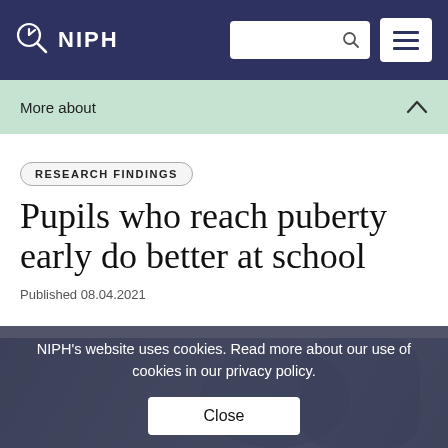NIPH
More about
RESEARCH FINDINGS
Pupils who reach puberty early do better at school
Published 08.04.2021
NIPH's website uses cookies. Read more about our use of cookies in our privacy policy.
Close
[Figure (photo): Partially visible photo of two young people, likely school-age girls, in the background behind the cookie overlay]